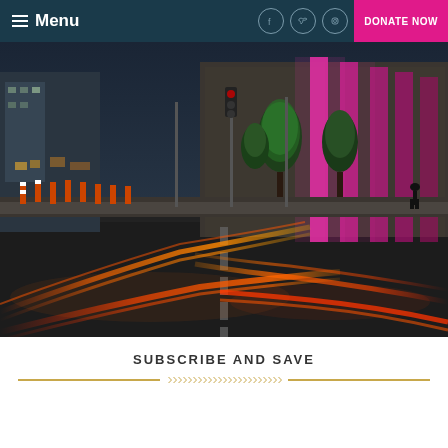Menu | DONATE NOW
[Figure (photo): Night-time city street scene with long-exposure car light trails (red and orange streaks) on a wet road intersection, with illuminated buildings including pink/magenta lit columns on a large stone structure, green-lit trees, and construction barriers on the left side.]
SUBSCRIBE AND SAVE